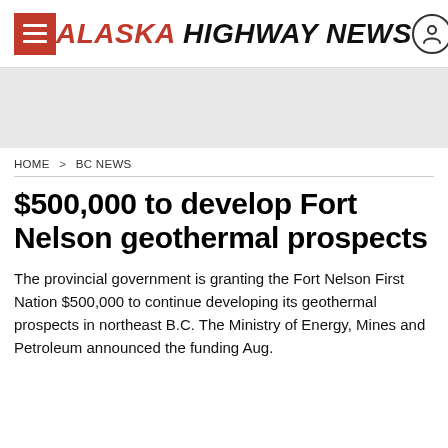ALASKA HIGHWAY NEWS
[Figure (other): Gray advertisement banner placeholder]
HOME > BC NEWS
$500,000 to develop Fort Nelson geothermal prospects
The provincial government is granting the Fort Nelson First Nation $500,000 to continue developing its geothermal prospects in northeast B.C. The Ministry of Energy, Mines and Petroleum announced the funding Aug.